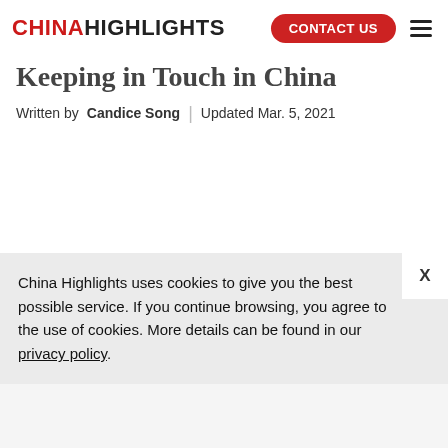CHINA HIGHLIGHTS | CONTACT US
Keeping in Touch in China
Written by Candice Song | Updated Mar. 5, 2021
China Highlights uses cookies to give you the best possible service. If you continue browsing, you agree to the use of cookies. More details can be found in our privacy policy.